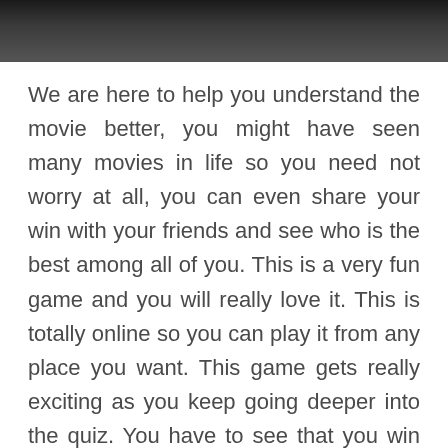[Figure (photo): Partial photo of a person at the top of the page, mostly dark/dark clothing background]
We are here to help you understand the movie better, you might have seen many movies in life so you need not worry at all, you can even share your win with your friends and see who is the best among all of you. This is a very fun game and you will really love it. This is totally online so you can play it from any place you want. This game gets really exciting as you keep going deeper into the quiz. You have to see that you win no matter what if you really have to